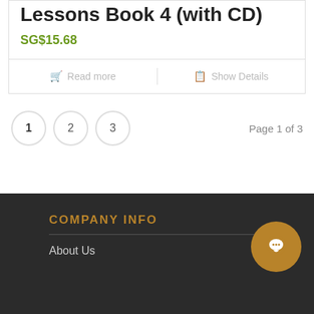Lessons Book 4 (with CD)
SG$15.68
Read more
Show Details
1  2  3   Page 1 of 3
COMPANY INFO
About Us